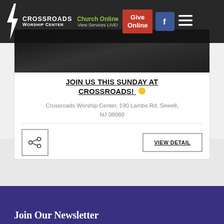Crossroads Worship Center — Church Online View Services LIVE! | Give Online | Facebook | Menu
JOIN US THIS SUNDAY AT CROSSROADS!
Crossroads Worship Center, 190 Lambs Rd, Sewell, NJ 08080
VIEW DETAIL
Join Our Newsletter